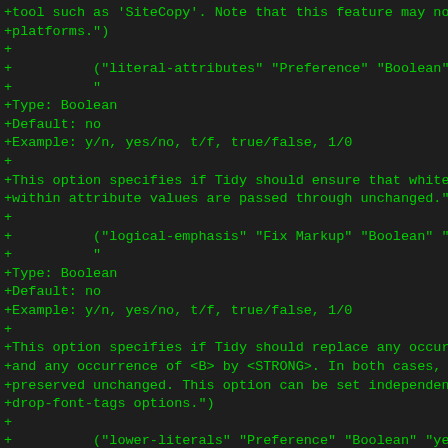+tool such as 'SiteCopy'. Note that this feature may not wo
+platforms.")
+
+          ("literal-attributes" "Preference" "Boolean" "no
+          "
+Type: Boolean
+Default: no
+Example: y/n, yes/no, t/f, true/false, 1/0
+
+This option specifies if Tidy should ensure that whitespace
+within attribute values are passed through unchanged.")
+
+          ("logical-emphasis" "Fix Markup" "Boolean" "no"
+          "
+Type: Boolean
+Default: no
+Example: y/n, yes/no, t/f, true/false, 1/0
+
+This option specifies if Tidy should replace any occurrence
+and any occurrence of <B> by <STRONG>. In both cases, the a
+preserved unchanged. This option can be set independently o
+drop-font-tags options.")
+
+          ("lower-literals" "Preference" "Boolean" "yes"
+          "
+Type: Boolean
+Default: yes
+Example: y/n, yes/no, t/f, true/false, 1/0
+
+This option specifies if Tidy should convert the value of a
+that takes a list of predefined values to lower case. This
+XHTML documents.")